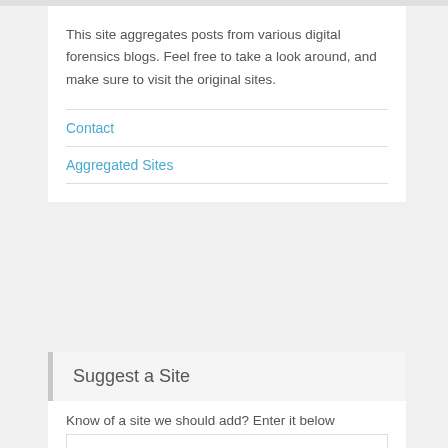This site aggregates posts from various digital forensics blogs. Feel free to take a look around, and make sure to visit the original sites.
Contact
Aggregated Sites
Suggest a Site
Know of a site we should add? Enter it below